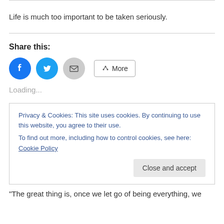Life is much too important to be taken seriously.
Share this:
[Figure (other): Social share buttons: Facebook (blue circle), Twitter (blue circle), Email (gray circle), and a More button with share icon]
Loading...
Privacy & Cookies: This site uses cookies. By continuing to use this website, you agree to their use. To find out more, including how to control cookies, see here: Cookie Policy
“The great thing is, once we let go of being everything, we